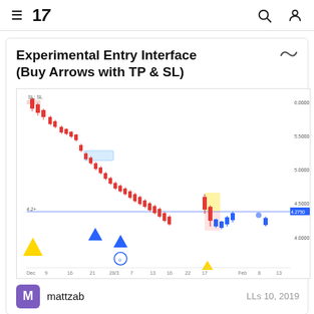≡ TV
Experimental Entry Interface (Buy Arrows with TP & SL)
[Figure (continuous-plot): TradingView candlestick chart showing a downtrending price series from December to February. Blue and red candlesticks, a horizontal blue line near 4,500 level. Yellow triangles (buy signals) on left and near bottom, blue triangles (buy arrows) in the middle section. A highlighted yellow zone near price 4,900 and a pink zone near 4,500. Y-axis labels: 4,000 to 4,000 range with ticks at 4.0000, 4.5000, 5.0000, 5.5000, 6.0000. X-axis shows dates: Dec, 9, 16, 21, 28/3, 7, 13, 16, 22, 17, Feb, 8, 13.]
mattzab
LLs 10, 2019